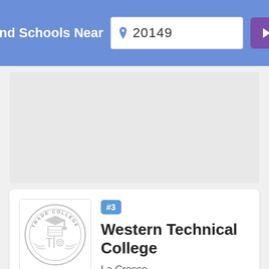Find Schools Near 20149
[Figure (screenshot): School listing card for Western Technical College, La Crosse, ranked #3, with a trade college logo featuring a mortarboard and tools.]
#3 Western Technical College
La Crosse